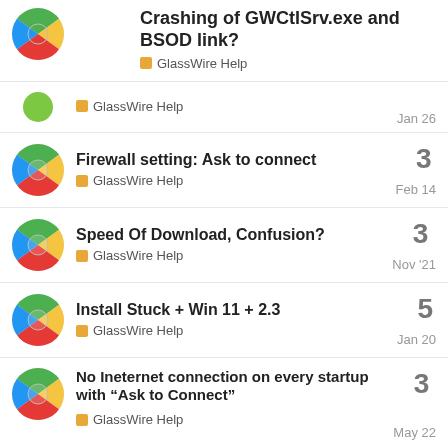Crashing of GWCtlSrv.exe and BSOD link?
GlassWire Help — Jan 26
Firewall setting: Ask to connect
GlassWire Help — Feb 14 — 3 replies
Speed Of Download, Confusion?
GlassWire Help — Nov '21 — 3 replies
Install Stuck + Win 11 + 2.3
GlassWire Help — Jan 20 — 5 replies
No Ineternet connection on every startup with “Ask to Connect”
GlassWire Help — May 22 — 3 replies
Want to read more? Browse other topics in GlassWire Help or view latest topics.